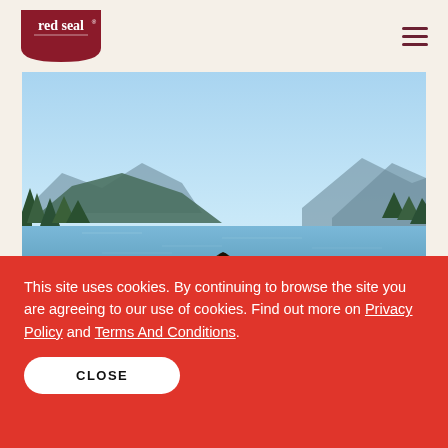[Figure (logo): Red Seal brand logo — white text on dark red shield/badge shape]
[Figure (photo): Person sitting in meditation pose on a wooden dock overlooking a calm lake with mountains and trees in the background under a clear blue sky]
BEAUTY   1 min
This site uses cookies. By continuing to browse the site you are agreeing to our use of cookies. Find out more on Privacy Policy and Terms And Conditions.
CLOSE